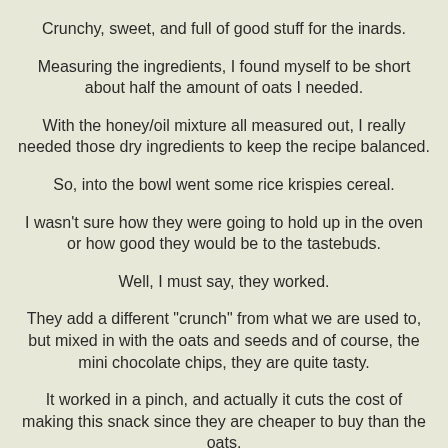Crunchy, sweet, and full of good stuff for the inards.
Measuring the ingredients, I found myself to be short about half the amount of oats I needed.
With the honey/oil mixture all measured out, I really needed those dry ingredients to keep the recipe balanced.
So, into the bowl went some rice krispies cereal.
I wasn't sure how they were going to hold up in the oven or how good they would be to the tastebuds.
Well, I must say, they worked.
They add a different "crunch" from what we are used to, but mixed in with the oats and seeds and of course, the mini chocolate chips, they are quite tasty.
It worked in a pinch, and actually it cuts the cost of making this snack since they are cheaper to buy than the oats.